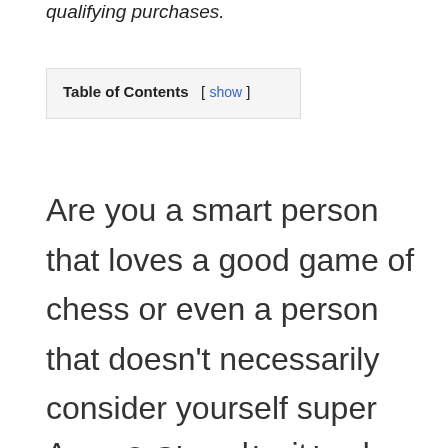qualifying purchases.
| Table of Contents |
| --- |
Are you a smart person that loves a good game of chess or even a person that doesn't necessarily consider yourself super smart? Chess has been considered a smart person's game, but it's really not.
Anyone can play it and have a good